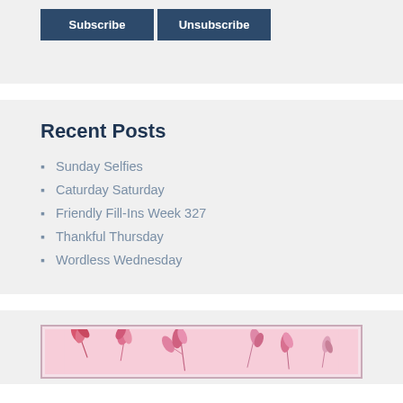Subscribe | Unsubscribe
Recent Posts
Sunday Selfies
Caturday Saturday
Friendly Fill-Ins Week 327
Thankful Thursday
Wordless Wednesday
[Figure (illustration): Pink floral/tulip illustration on a light pink background with a decorative border]